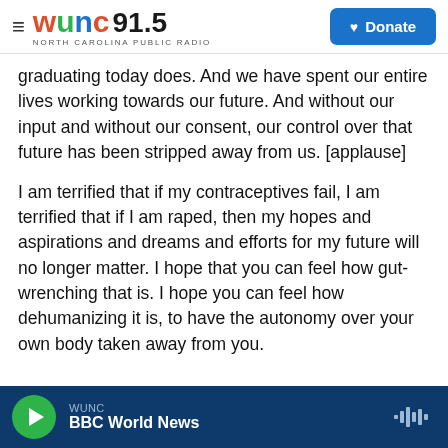WUNC 91.5 NORTH CAROLINA PUBLIC RADIO | Donate
graduating today does. And we have spent our entire lives working towards our future. And without our input and without our consent, our control over that future has been stripped away from us. [applause]
I am terrified that if my contraceptives fail, I am terrified that if I am raped, then my hopes and aspirations and dreams and efforts for my future will no longer matter. I hope that you can feel how gut-wrenching that is. I hope you can feel how dehumanizing it is, to have the autonomy over your own body taken away from you.
WUNC | BBC World News